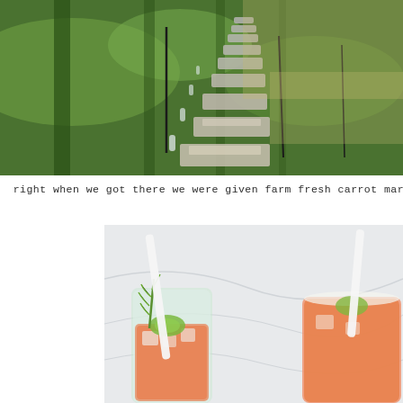[Figure (photo): Outdoor garden path with green grass and flat stone stepping stones lined with glass candle holders, photographed at dusk or golden hour light]
right when we got there we were given farm fresh carrot margi's!  m
[Figure (photo): Close-up photo of mason jar cocktails with white straws, lime slices, green herbs/rosemary garnish, and orange/carrot colored drink liquid on a white fabric background]